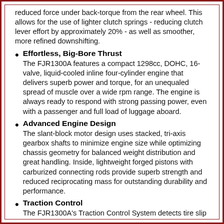reduced force under back-torque from the rear wheel. This allows for the use of lighter clutch springs - reducing clutch lever effort by approximately 20% - as well as smoother, more refined downshifting.
Effortless, Big-Bore Thrust
The FJR1300A features a compact 1298cc, DOHC, 16-valve, liquid-cooled inline four-cylinder engine that delivers superb power and torque, for an unequaled spread of muscle over a wide rpm range. The engine is always ready to respond with strong passing power, even with a passenger and full load of luggage aboard.
Advanced Engine Design
The slant-block motor design uses stacked, tri-axis gearbox shafts to minimize engine size while optimizing chassis geometry for balanced weight distribution and great handling. Inside, lightweight forged pistons with carburized connecting rods provide superb strength and reduced reciprocating mass for outstanding durability and performance.
Traction Control
The FJR1300A's Traction Control System detects tire slip and adjusts ignition timing, fuel injection volume, and throttle valve opening to help